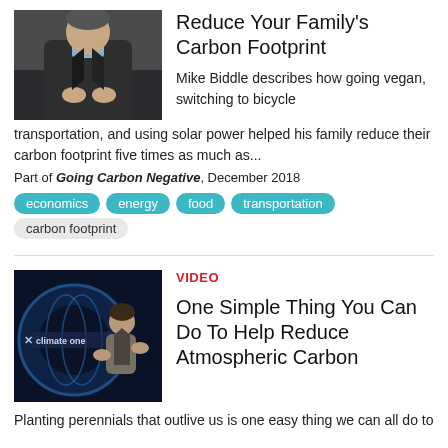[Figure (photo): Man in dark jacket sitting, speaking at panel event]
Reduce Your Family's Carbon Footprint
Mike Biddle describes how going vegan, switching to bicycle transportation, and using solar power helped his family reduce their carbon footprint five times as much as...
Part of Going Carbon Negative, December 2018
economics
energy
food
transportation
carbon footprint
[Figure (photo): Woman speaking at Climate One panel event with blue globe backdrop]
VIDEO
One Simple Thing You Can Do To Help Reduce Atmospheric Carbon
Planting perennials that outlive us is one easy thing we can all do to